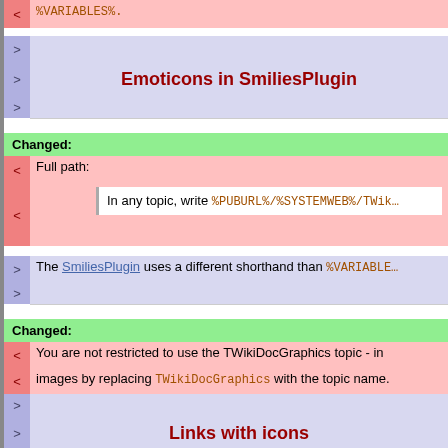< %VARIABLES%.
Emoticons in SmiliesPlugin
Changed:
< Full path:
< In any topic, write %PUBURL%/%SYSTEMWEB%/TWik...
> The SmiliesPlugin uses a different shorthand than %VARIABLES...
Changed:
< You are not restricted to use the TWikiDocGraphics topic - in...
< images by replacing TWikiDocGraphics with the topic name.
Links with icons